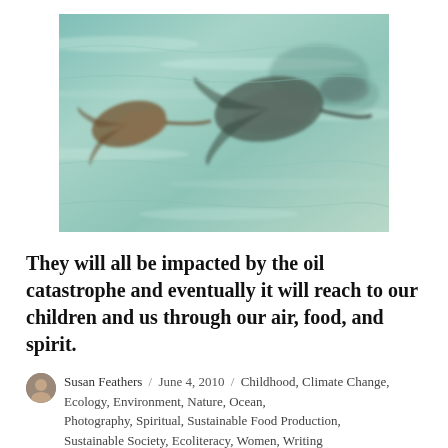[Figure (photo): Underwater photo of stingrays or flat fish visible through shallow turquoise ocean water, taken from above the surface]
They will all be impacted by the oil catastrophe and eventually it will reach to our children and us through our air, food, and spirit.
Susan Feathers / June 4, 2010 / Childhood, Climate Change, Ecology, Environment, Nature, Ocean, Photography, Spiritual, Sustainable Food Production, Sustainable Society, Ecoliteracy, Women, Writing